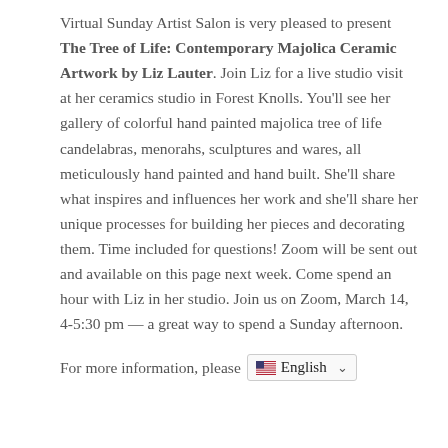Virtual Sunday Artist Salon is very pleased to present The Tree of Life: Contemporary Majolica Ceramic Artwork by Liz Lauter. Join Liz for a live studio visit at her ceramics studio in Forest Knolls. You'll see her gallery of colorful hand painted majolica tree of life candelabras, menorahs, sculptures and wares, all meticulously hand painted and hand built. She'll share what inspires and influences her work and she'll share her unique processes for building her pieces and decorating them. Time included for questions! Zoom will be sent out and available on this page next week. Come spend an hour with Liz in her studio. Join us on Zoom, March 14, 4-5:30 pm — a great way to spend a Sunday afternoon.
For more information, please